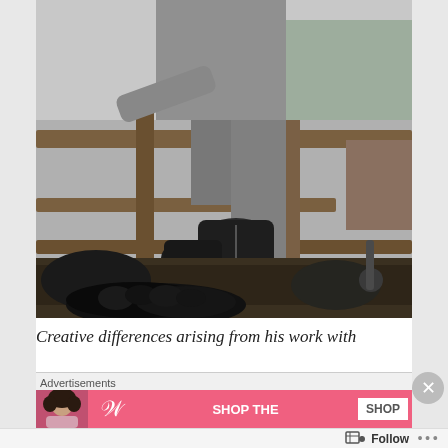[Figure (photo): Black and white photograph showing a person in boots and jeans climbing or stepping over wooden fence rails, with soil and plants visible below. The lower portion shows curly dark hair of another person.]
Creative differences arising from his work with
Advertisements
[Figure (photo): Advertisement banner with pink background, featuring a model with curly hair, a stylized W logo, 'SHOP THE' text, and a 'SHOP' button.]
Follow
...